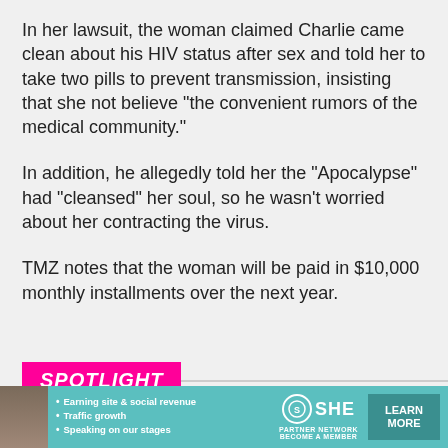In her lawsuit, the woman claimed Charlie came clean about his HIV status after sex and told her to take two pills to prevent transmission, insisting that she not believe "the convenient rumors of the medical community."
In addition, he allegedly told her the "Apocalypse" had "cleansed" her soul, so he wasn't worried about her contracting the virus.
TMZ notes that the woman will be paid in $10,000 monthly installments over the next year.
SPOTLIGHT
[Figure (photo): Partial photo thumbnail of a person, cropped at bottom of content area]
[Figure (infographic): SHE Partner Network advertisement banner with bullet points: Earning site & social revenue, Traffic growth, Speaking on our stages. Includes LEARN MORE button and BECOME A MEMBER text.]